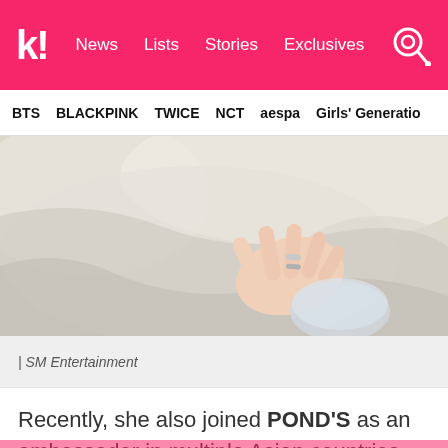kl! News Lists Stories Exclusives
BTS BLACKPINK TWICE NCT aespa Girls' Generation
[Figure (photo): Close-up photo of a hand with rings resting on white fabric/sheets]
| SM Entertainment
Recently, she also joined POND'S as an ambassador in multiple Asian countries, including Thailand and Malaysia.